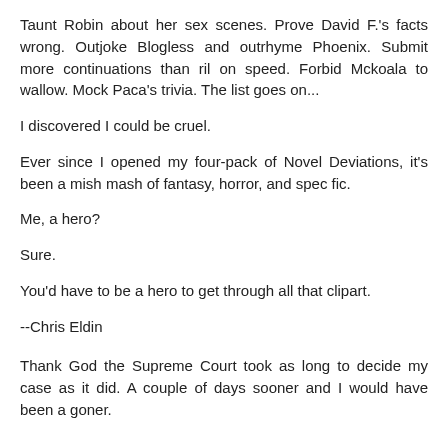Taunt Robin about her sex scenes. Prove David F.'s facts wrong. Outjoke Blogless and outrhyme Phoenix. Submit more continuations than ril on speed. Forbid Mckoala to wallow. Mock Paca's trivia. The list goes on...
I discovered I could be cruel.
Ever since I opened my four-pack of Novel Deviations, it's been a mish mash of fantasy, horror, and spec fic.
Me, a hero?
Sure.
You'd have to be a hero to get through all that clipart.
--Chris Eldin
Thank God the Supreme Court took as long to decide my case as it did. A couple of days sooner and I would have been a goner.